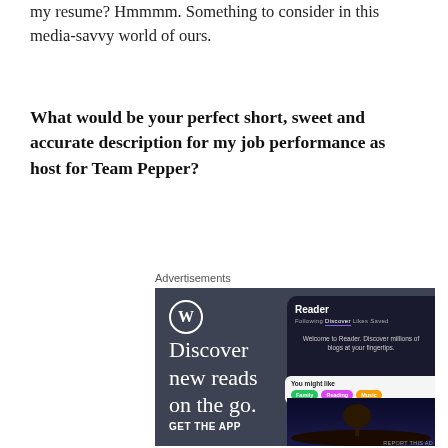my resume? Hmmmm. Something to consider in this media-savvy world of ours.
What would be your perfect short, sweet and accurate description for my job performance as host for Team Pepper?
Advertisements
[Figure (illustration): WordPress advertisement showing 'Discover new reads on the go.' with a phone mockup of the Reader app. Includes a GET THE APP call to action at the bottom.]